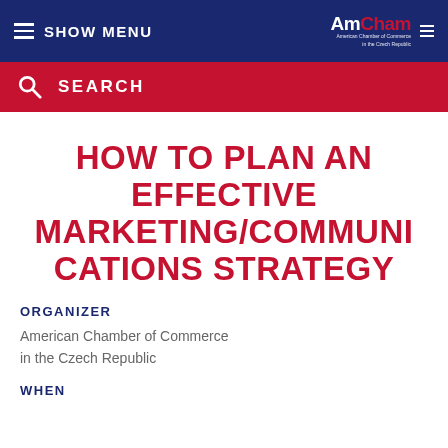≡ SHOW MENU | AmCham American Chamber of Commerce in the Czech Republic
SEARCH
HOW TO PLAN AN EFFECTIVE MARKETING/COMMUNICATIONS STRATEGY
ORGANIZER
American Chamber of Commerce in the Czech Republic
WHEN